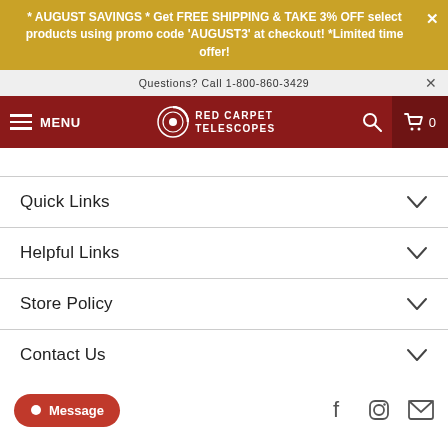* AUGUST SAVINGS * Get FREE SHIPPING & TAKE 3% OFF select products using promo code 'AUGUST3' at checkout! *Limited time offer!
Questions? Call 1-800-860-3429
MENU | RED CARPET TELESCOPES | [search] [cart] 0
Quick Links
Helpful Links
Store Policy
Contact Us
Message [Facebook] [Instagram] [Email]